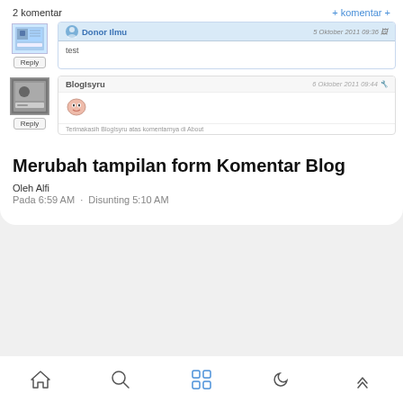2 komentar
+ komentar +
[Figure (screenshot): Screenshot of blog comment section showing two comments: one by 'Donor Ilmu' dated 5 Oktober 2011 09:36 with text 'test', and one by 'BlogIsyru' dated 6 Oktober 2011 09:44 with an emoji/icon image and footer text 'Terimakasih BlogIsyru atas komentarnya di About']
Merubah tampilan form Komentar Blog
Oleh Alfi
Pada 6:59 AM · Disunting 5:10 AM
[Figure (infographic): Bottom navigation bar with home, search, apps grid, moon/night mode, and up-arrow icons]